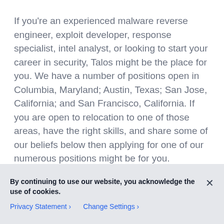If you're an experienced malware reverse engineer, exploit developer, response specialist, intel analyst, or looking to start your career in security, Talos might be the place for you.  We have a number of positions open in Columbia, Maryland; Austin, Texas; San Jose, California; and San Francisco, California.  If you are open to relocation to one of those areas, have the right skills, and share some of our beliefs below then applying for one of our numerous positions might be for you.
For those not familiar with Talos, it is Cisco...
By continuing to use our website, you acknowledge the use of cookies.
Privacy Statement > Change Settings >